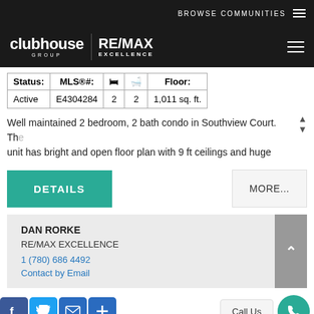BROWSE COMMUNITIES
[Figure (logo): Clubhouse Group RE/MAX Excellence logo on dark background]
| Status: | MLS®#: | ⚺ | ⛄ | Floor: |
| --- | --- | --- | --- | --- |
| Active | E4304284 | 2 | 2 | 1,011 sq. ft. |
Well maintained 2 bedroom, 2 bath condo in Southview Court. The unit has bright and open floor plan with 9 ft ceilings and huge
DETAILS
MORE...
DAN RORKE
RE/MAX EXCELLENCE
1 (780) 686 4492
Contact by Email
Call Us